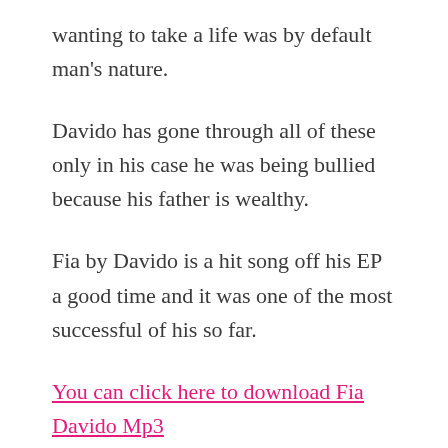wanting to take a life was by default man's nature.
Davido has gone through all of these only in his case he was being bullied because his father is wealthy.
Fia by Davido is a hit song off his EP a good time and it was one of the most successful of his so far.
You can click here to download Fia Davido Mp3...